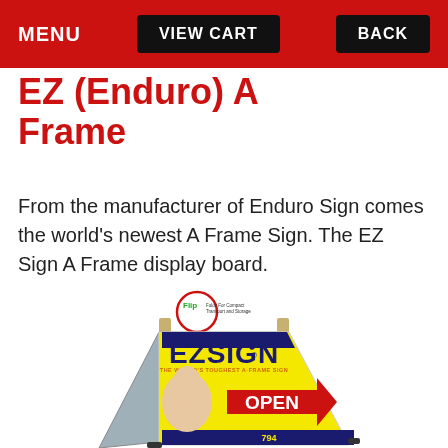MENU  VIEW CART  BACK
EZ (Enduro) A Frame
From the manufacturer of Enduro Sign comes the world's newest A Frame Sign. The EZ Sign A Frame display board.
[Figure (photo): EZ Sign A-Frame sign product photo showing a yellow A-frame display board with EZSIGN branding, 'THE WORLD'S TOUGHEST A-FRAME SIGN' tagline, a woman's photo, and an OPEN arrow sign. A Flip logo badge is shown at the top for compact transport and storage.]